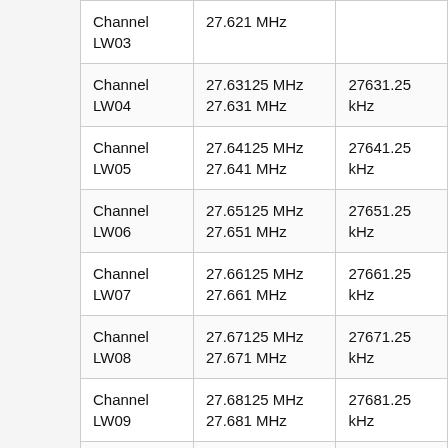| Channel | Frequency (MHz) | Frequency (kHz) |
| --- | --- | --- |
| Channel LW03 | 27.621 MHz |  |
| Channel LW04 | 27.63125 MHz
27.631 MHz | 27631.25 kHz |
| Channel LW05 | 27.64125 MHz
27.641 MHz | 27641.25 kHz |
| Channel LW06 | 27.65125 MHz
27.651 MHz | 27651.25 kHz |
| Channel LW07 | 27.66125 MHz
27.661 MHz | 27661.25 kHz |
| Channel LW08 | 27.67125 MHz
27.671 MHz | 27671.25 kHz |
| Channel LW09 | 27.68125 MHz
27.681 MHz | 27681.25 kHz |
| Channel LW10 | 27.69125 MHz
27.691 MHz | 27691.25 kHz |
| Channel LW11 | 27.70125 MHz
27.701 MHz | 27701.25 kHz |
| Channel LW12 | 27.71125 MHz
27.711 MHz | 27711.25 kHz |
| Channel LW13 | 27.72125 MHz
27.721 MHz | 27721.25 kHz |